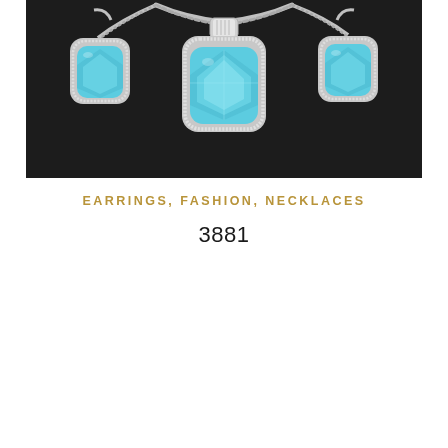[Figure (photo): Photo of silver jewelry set including a necklace pendant and matching earrings, all featuring large cushion-cut blue topaz stones surrounded by a halo of small white diamonds or cubic zirconia, set in silver metal, displayed on a dark background.]
EARRINGS, FASHION, NECKLACES
3881